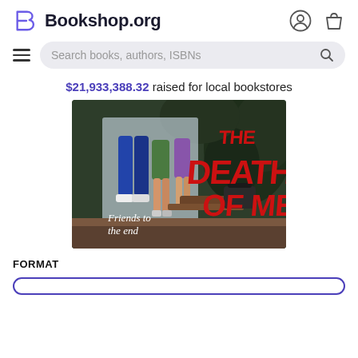Bookshop.org
$21,933,388.32 raised for local bookstores
[Figure (photo): Book cover for 'The Death of Me' showing three teenagers from waist down standing near a glass door, with large red horror-style text reading 'THE DEATH OF ME' and white cursive text reading 'Friends to the end']
FORMAT